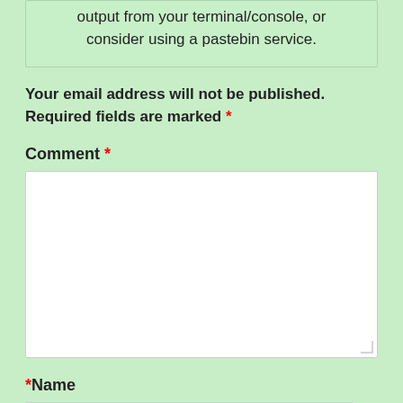output from your terminal/console, or consider using a pastebin service.
Your email address will not be published. Required fields are marked *
Comment *
*Name
*Email